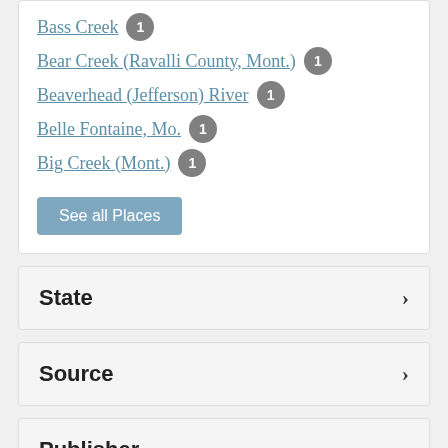Bass Creek 1
Bear Creek (Ravalli County, Mont.) 1
Beaverhead (Jefferson) River 1
Belle Fontaine, Mo. 1
Big Creek (Mont.) 1
See all Places
State
Source
Publisher
Category: Journals